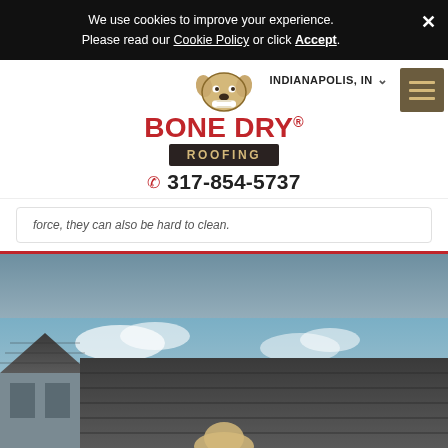We use cookies to improve your experience. Please read our Cookie Policy or click Accept.
[Figure (logo): Bone Dry Roofing logo with cartoon dog holding a bone, red bold text BONE DRY, dark banner with gold ROOFING text]
INDIANAPOLIS, IN
317-854-5737
force, they can also be hard to clean.
[Figure (photo): Aerial/close-up photo of a residential rooftop with dark shingles against a cloudy blue sky, partial Bone Dry Roofing logo visible at bottom]